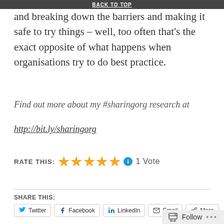BACK TO TOP
and breaking down the barriers and making it safe to try things – well, too often that's the exact opposite of what happens when organisations try to do best practice.
Find out more about my #sharingorg research at http://bit.ly/sharingorg
RATE THIS: ★★★★★ ℹ 1 Vote
SHARE THIS:
Twitter  Facebook  LinkedIn  Email  More
Follow ...